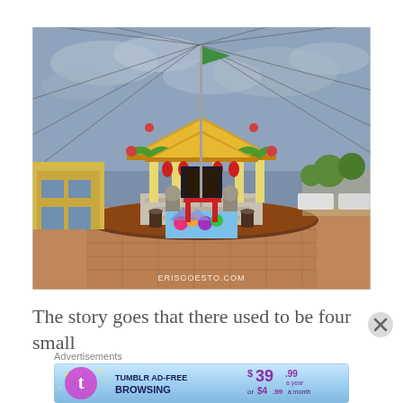[Figure (photo): A Chinese temple (Taoist/Buddhist) with ornate golden-green roof decorations, dragon sculptures, red lanterns, stone lions, and stairs leading to the entrance. The temple is surrounded by a circular brick plaza. A flagpole with a green flag stands in front. Colorful festival displays are visible at the base. Yellow buildings are visible to the left, parked vehicles and trees to the right. A cloudy blue-grey sky is in the background. Watermark 'ERISGOESTO.COM' visible at the bottom. Decorative cables radiate outward from the flag pole across the sky.]
The story goes that there used to be four small
Advertisements
[Figure (screenshot): Tumblr AD-FREE BROWSING advertisement banner. Blue gradient background. Tumblr 't' logo in pink/purple with sparkles. Text: TUMBLR AD-FREE BROWSING. Price: $39.99 a year or $4.99 a month.]